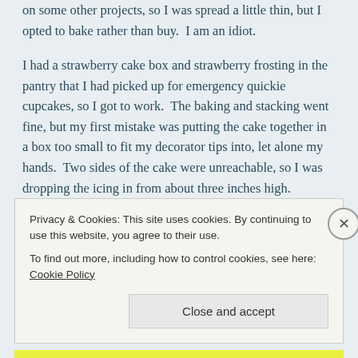on some other projects, so I was spread a little thin, but I opted to bake rather than buy.  I am an idiot.
I had a strawberry cake box and strawberry frosting in the pantry that I had picked up for emergency quickie cupcakes, so I got to work.  The baking and stacking went fine, but my first mistake was putting the cake together in a box too small to fit my decorator tips into, let alone my hands.  Two sides of the cake were unreachable, so I was dropping the icing in from about three inches high.
Privacy & Cookies: This site uses cookies. By continuing to use this website, you agree to their use.
To find out more, including how to control cookies, see here: Cookie Policy
Close and accept